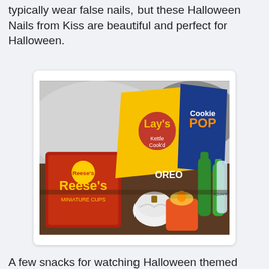This is my 2nd Halloween manicure for the week. I don't typically wear false nails, but these Halloween Nails from Kiss are beautiful and perfect for Halloween.
[Figure (photo): A table with Halloween snacks including Reese's Miniature Cups, Lay's Kettle Cooked chips, Cookie Pop Popcorn with Oreos, green glass bottles, water bottles, a white pumpkin candle holder, and a lit orange candle.]
A few snacks for watching Halloween themed shows and movies with my mom this weekend. Also, if you like Oreos you'll probably love Cookie Pop Popcorn. It's so good!
[Figure (photo): A partial image at the bottom of the page showing a Halloween themed item with teal/green colors on a black background.]